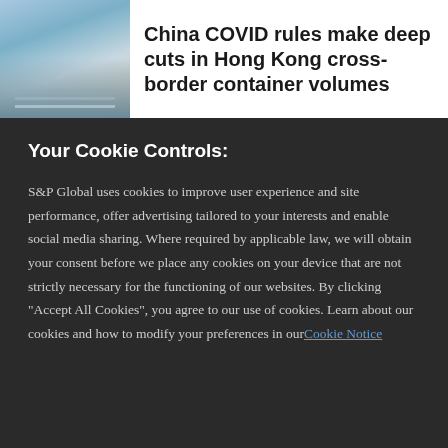[Figure (photo): Photo of a bridge and city skyline, partially visible on the left side of the top banner]
China COVID rules make deep cuts in Hong Kong cross-border container volumes
Your Cookie Controls:
S&P Global uses cookies to improve user experience and site performance, offer advertising tailored to your interests and enable social media sharing. Where required by applicable law, we will obtain your consent before we place any cookies on your device that are not strictly necessary for the functioning of our websites. By clicking "Accept All Cookies", you agree to our use of cookies. Learn about our cookies and how to modify your preferences in our Cookie Notice